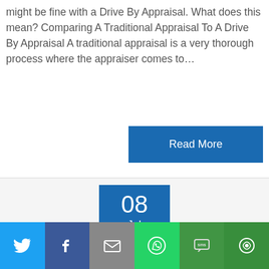might be fine with a Drive By Appraisal. What does this mean? Comparing A Traditional Appraisal To A Drive By Appraisal A traditional appraisal is a very thorough process where the appraiser comes to…
Read More
08 Jul
[Figure (photo): Circular avatar photo of a woman with short brown hair wearing a dark jacket]
[Figure (infographic): Social share bar with icons for Twitter (blue), Facebook (dark blue), Email (gray), WhatsApp (green), SMS (green), and More (dark green)]